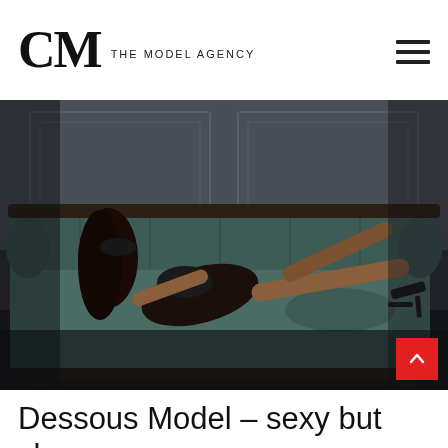CM THE MODEL AGENCY
[Figure (photo): A woman in black lingerie and a black lace mask reclines on a tufted green velvet antique sofa against a white paneled wall background.]
Dessous Model – sexy but classy